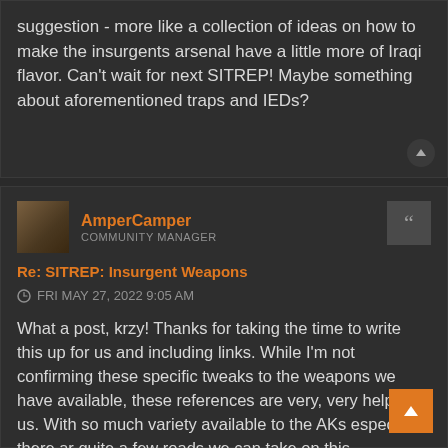suggestion - more like a collection of ideas on how to make the insurgents arsenal have a little more of Iraqi flavor. Can't wait for next SITREP! Maybe something about aforementioned traps and IEDs?
AmperCamper
COMMUNITY MANAGER
Re: SITREP: Insurgent Weapons
FRI MAY 27, 2022 9:05 AM
What a post, krzy! Thanks for taking the time to write this up for us and including links. While I'm not confirming these specific tweaks to the weapons we have available, these references are very, very helpful to us. With so much variety available to the AKs especially, there are quite a few roads we can take on this.